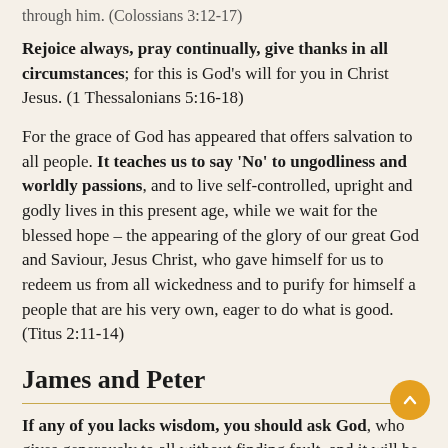through him. (Colossians 3:12-17)
Rejoice always, pray continually, give thanks in all circumstances; for this is God's will for you in Christ Jesus. (1 Thessalonians 5:16-18)
For the grace of God has appeared that offers salvation to all people. It teaches us to say ‘No’ to ungodliness and worldly passions, and to live self-controlled, upright and godly lives in this present age, while we wait for the blessed hope – the appearing of the glory of our great God and Saviour, Jesus Christ, who gave himself for us to redeem us from all wickedness and to purify for himself a people that are his very own, eager to do what is good. (Titus 2:11-14)
James and Peter
If any of you lacks wisdom, you should ask God, who gives generously to all without finding fault, and it will be given to you. But when you ask, you must believe and not doubt, because the one who doubts is like a wave of the sea...